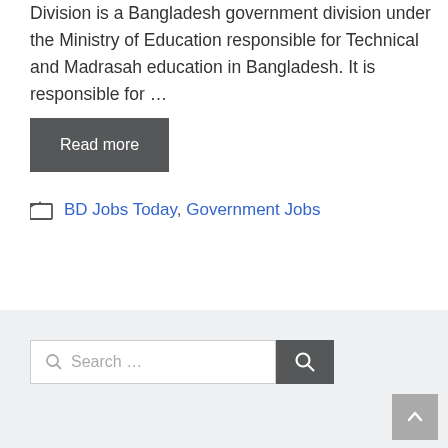Division is a Bangladesh government division under the Ministry of Education responsible for Technical and Madrasah education in Bangladesh. It is responsible for …
Read more
BD Jobs Today, Government Jobs
Search …